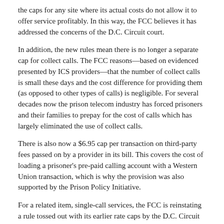the caps for any site where its actual costs do not allow it to offer service profitably. In this way, the FCC believes it has addressed the concerns of the D.C. Circuit court.
In addition, the new rules mean there is no longer a separate cap for collect calls. The FCC reasons—based on evidenced presented by ICS providers—that the number of collect calls is small these days and the cost difference for providing them (as opposed to other types of calls) is negligible. For several decades now the prison telecom industry has forced prisoners and their families to prepay for the cost of calls which has largely eliminated the use of collect calls.
There is also now a $6.95 cap per transaction on third-party fees passed on by a provider in its bill. This covers the cost of loading a prisoner's pre-paid calling account with a Western Union transaction, which is why the provision was also supported by the Prison Policy Initiative.
For a related item, single-call services, the FCC is reinstating a rule tossed out with its earlier rate caps by the D.C. Circuit court. Since the court did not address the issue, the former rule is again in force, allowing a provider to pass along these charges in its billing without markup.
Despite provisions of Section 276 limiting the FCC's authority to interstate and international communications, the interstate caps also now apply to intrastate calls unless providers can reasonably segregate the cost